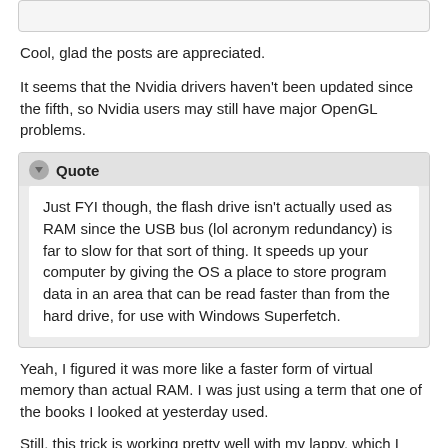Cool, glad the posts are appreciated.
It seems that the Nvidia drivers haven't been updated since the fifth, so Nvidia users may still have major OpenGL problems.
Just FYI though, the flash drive isn't actually used as RAM since the USB bus (lol acronym redundancy) is far to slow for that sort of thing. It speeds up your computer by giving the OS a place to store program data in an area that can be read faster than from the hard drive, for use with Windows Superfetch.
Yeah, I figured it was more like a faster form of virtual memory than actual RAM. I was just using a term that one of the books I looked at yesterday used.
Still, this trick is working pretty well with my lappy, which I don't game very much on (and if I do, it's usually old stuff anyway). I just won't have much use for it on my desktop. In fact, the book I read pretty much